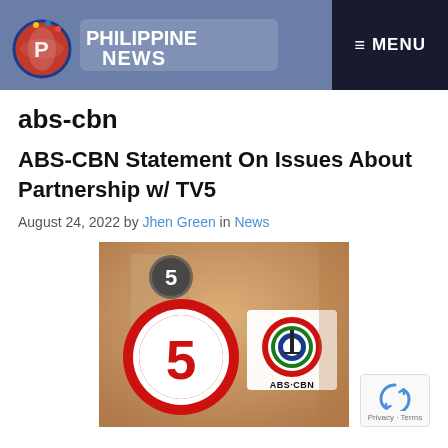Philippine News | MENU
abs-cbn
ABS-CBN Statement On Issues About Partnership w/ TV5
August 24, 2022 by Jhen Green in News
[Figure (photo): TV5 and ABS-CBN logos side by side on a warm-toned background. Left: TV5 logo — large red circle with white border and red numeral 5. Right: ABS-CBN logo — concentric red, green, blue rings with a tower/antenna icon and text ABS·CBN below.]